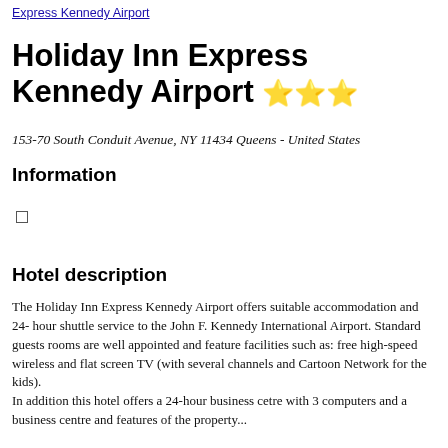Express Kennedy Airport
Holiday Inn Express Kennedy Airport ⭐⭐⭐
153-70 South Conduit Avenue, NY 11434 Queens - United States
Information
□
Hotel description
The Holiday Inn Express Kennedy Airport offers suitable accommodation and 24- hour shuttle service to the John F. Kennedy International Airport. Standard guests rooms are well appointed and feature facilities such as: free high-speed wireless and flat screen TV (with several channels and Cartoon Network for the kids).
In addition this hotel offers a 24-hour business cetre with 3 computers and a business centre and features of the property...